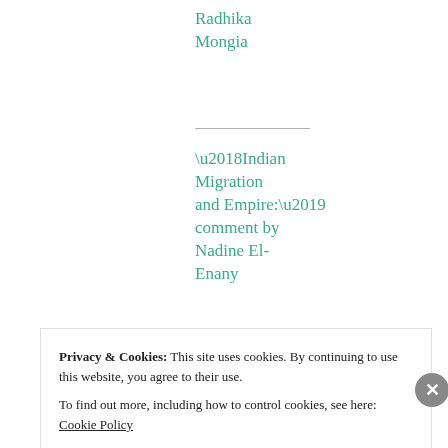Radhika Mongia
‘Indian Migration and Empire:’ comment by Nadine El-Enany
‘Indian Migration and Empire’: comment by Sanjay Seth
Privacy & Cookies: This site uses cookies. By continuing to use this website, you agree to their use.
To find out more, including how to control cookies, see here: Cookie Policy
Close and accept